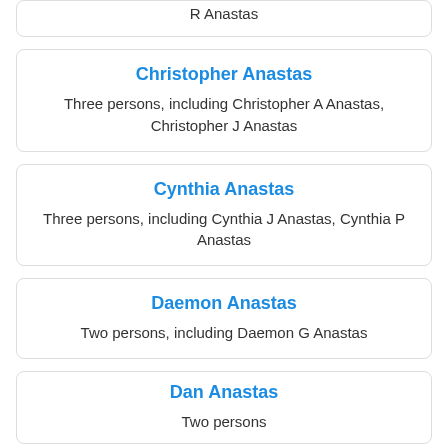R Anastas
Christopher Anastas
Three persons, including Christopher A Anastas, Christopher J Anastas
Cynthia Anastas
Three persons, including Cynthia J Anastas, Cynthia P Anastas
Daemon Anastas
Two persons, including Daemon G Anastas
Dan Anastas
Two persons